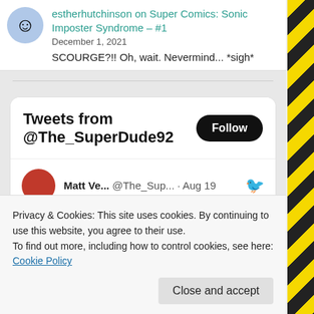estherhutchinson on Super Comics: Sonic Imposter Syndrome – #1
December 1, 2021
SCOURGE?!! Oh, wait. Nevermind... *sigh*
Tweets from @The_SuperDude92
Follow
Matt Ve... @The_Sup... · Aug 19
Privacy & Cookies: This site uses cookies. By continuing to use this website, you agree to their use.
To find out more, including how to control cookies, see here: Cookie Policy
Close and accept